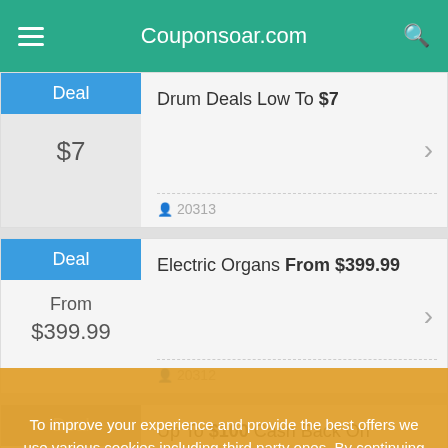Couponsoar.com
Drum Deals Low To $7
20313
Electric Organs From $399.99
20312
Up To $100 Cash Back On Ampeg BA Series Combos
To improve your experience and provide the best offers we use various cookies including third party ones. By continuing to browse you consent to the use of these cookies.